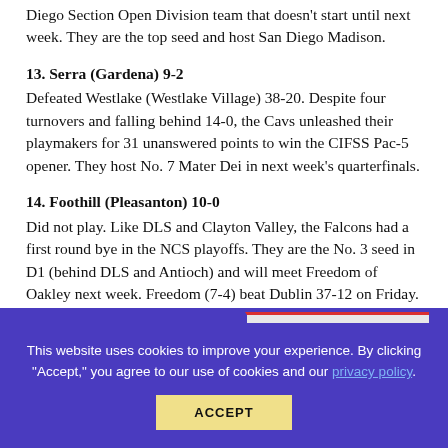Diego Section Open Division team that doesn't start until next week. They are the top seed and host San Diego Madison.
13. Serra (Gardena) 9-2
Defeated Westlake (Westlake Village) 38-20. Despite four turnovers and falling behind 14-0, the Cavs unleashed their playmakers for 31 unanswered points to win the CIFSS Pac-5 opener. They host No. 7 Mater Dei in next week's quarterfinals.
14. Foothill (Pleasanton) 10-0
Did not play. Like DLS and Clayton Valley, the Falcons had a first round bye in the NCS playoffs. They are the No. 3 seed in D1 (behind DLS and Antioch) and will meet Freedom of Oakley next week. Freedom (7-4) beat Dublin 37-12 on Friday.
This website uses cookies to improve your experience. By clicking "Accept," you agree to our use of cookies and our privacy policy.